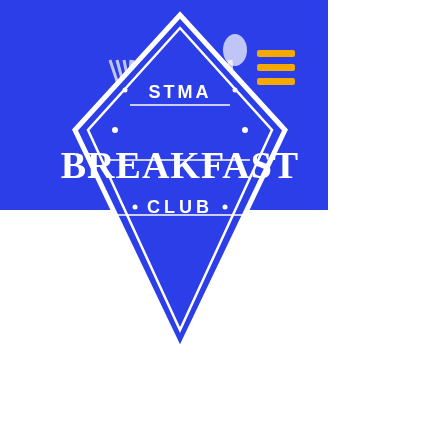[Figure (logo): STMA Breakfast Club logo: a diamond/kite shape in blue and white with the text 'STMA' at top, 'BREAKFAST' in large letters across the middle, and 'CLUB' at the bottom, with fork and spoon crossed behind the diamond shape. Located in the upper-left blue header bar.]
[Figure (other): Hamburger menu icon with three horizontal orange/gold lines, located in the upper right area of the blue header bar.]